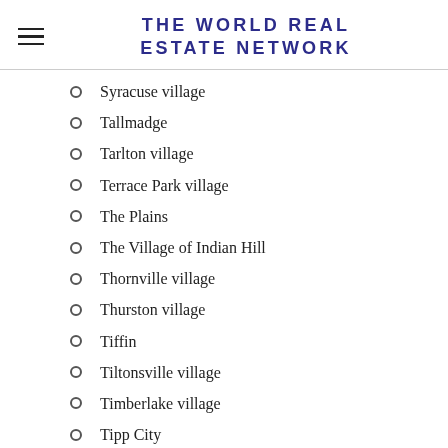THE WORLD REAL ESTATE NETWORK
Syracuse village
Tallmadge
Tarlton village
Terrace Park village
The Plains
The Village of Indian Hill
Thornville village
Thurston village
Tiffin
Tiltonsville village
Timberlake village
Tipp City
Tiro village
Toledo
Tontogany village